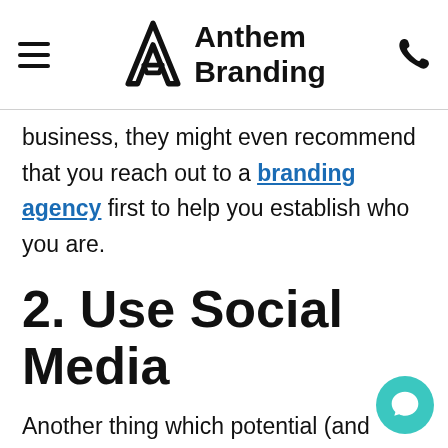Anthem Branding
business, they might even recommend that you reach out to a branding agency first to help you establish who you are.
2. Use Social Media
Another thing which potential (and existing) customers will always expect a business to have is social media. You might think as a construction company you don't need to use social media much due to it being a very niche market, but social media marketing can be one of the essential marketing tools